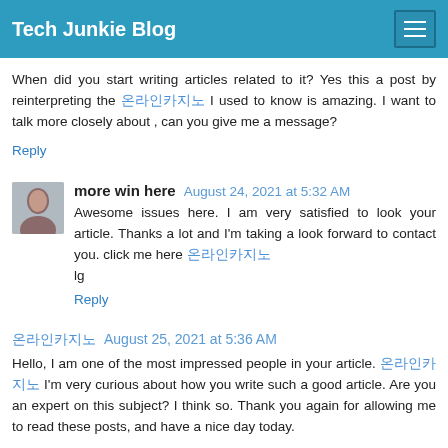Tech Junkie Blog
When did you start writing articles related to it? Yes this a post by reinterpreting the 온라인카지노 I used to know is amazing. I want to talk more closely about , can you give me a message?
Reply
more win here  August 24, 2021 at 5:32 AM
Awesome issues here. I am very satisfied to look your article. Thanks a lot and I'm taking a look forward to contact you. click me here 온라인카지노
lg
Reply
온라인카지노  August 25, 2021 at 5:36 AM
Hello, I am one of the most impressed people in your article. 온라인카지노 I'm very curious about how you write such a good article. Are you an expert on this subject? I think so. Thank you again for allowing me to read these posts, and have a nice day today.